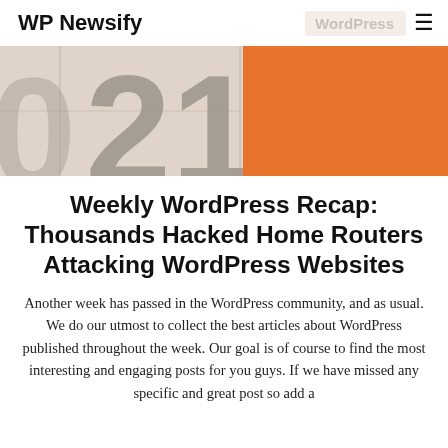WP Newsify | WordPress
[Figure (photo): Hero image showing large calendar numbers (0, 21, 22) in grey on a pinkish-beige background, with a large orange rectangle covering the right portion.]
Weekly WordPress Recap: Thousands Hacked Home Routers Attacking WordPress Websites
Another week has passed in the WordPress community, and as usual. We do our utmost to collect the best articles about WordPress published throughout the week. Our goal is of course to find the most interesting and engaging posts for you guys. If we have missed any specific and great post so add a